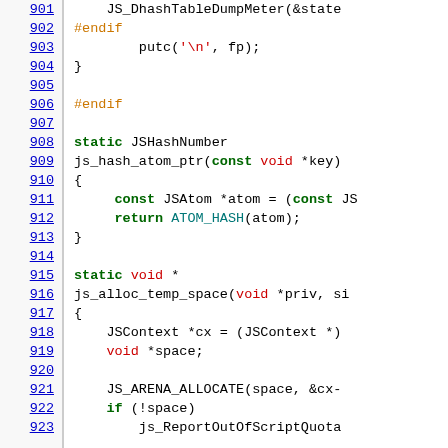Source code viewer showing lines 901-923 of a C/JavaScript engine source file, featuring functions js_hash_atom_ptr and js_alloc_temp_space with syntax highlighting